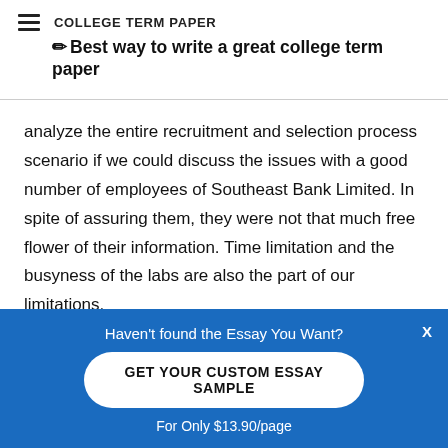COLLEGE TERM PAPER
✏ Best way to write a great college term paper
analyze the entire recruitment and selection process scenario if we could discuss the issues with a good number of employees of Southeast Bank Limited. In spite of assuring them, they were not that much free flower of their information. Time limitation and the busyness of the labs are also the part of our limitations.
Lack of information is the main limitation of our report.
Haven't found the Essay You Want? GET YOUR CUSTOM ESSAY SAMPLE For Only $13.90/page